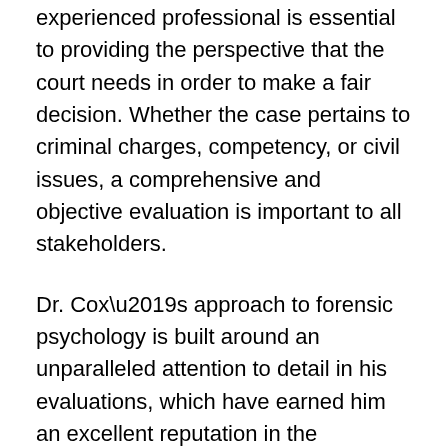experienced professional is essential to providing the perspective that the court needs in order to make a fair decision. Whether the case pertains to criminal charges, competency, or civil issues, a comprehensive and objective evaluation is important to all stakeholders.
Dr. Cox’s approach to forensic psychology is built around an unparalleled attention to detail in his evaluations, which have earned him an excellent reputation in the courtroom. He delivers superior work in all of his professional endeavors, recognizing the paramount importance of accurate and thorough psychological evaluations as they relate to the law.
In the area of forensic psychology, Dr. Cox specializes in the following: